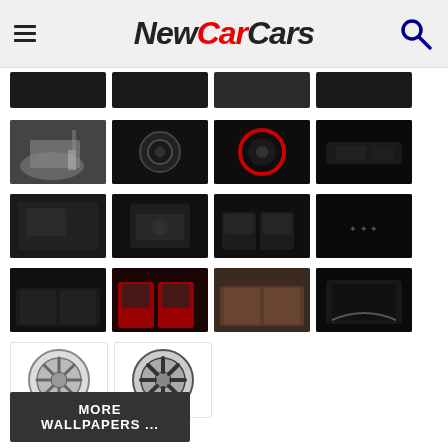NewCarCars
[Figure (photo): Car photo thumbnail grid - partial top row (dark car exterior/interior shots)]
[Figure (photo): Row 2: car trunk open with person, dashboard close-up, gauge/instrument, interior dashboard view]
[Figure (photo): Row 3: interior door panel, center console, front seats interior, dark exterior detail]
[Figure (photo): Row 4: rear seats dark leather, red and black sport seats, tan/brown rear seats, trunk interior]
[Figure (photo): Row 5: two alloy wheel thumbnails on white background]
MORE WALLPAPERS ...